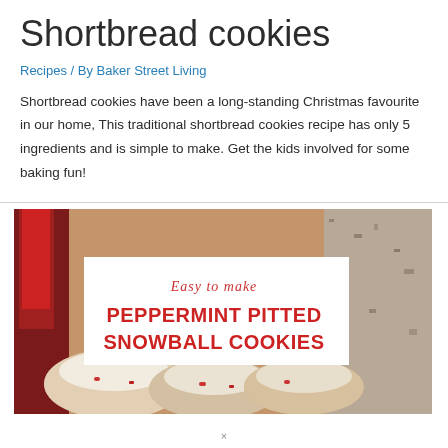Shortbread cookies
Recipes / By Baker Street Living
Shortbread cookies have been a long-standing Christmas favourite in our home, This traditional shortbread cookies recipe has only 5 ingredients and is simple to make. Get the kids involved for some baking fun!
[Figure (photo): Photo of peppermint pitted snowball cookies with text overlay reading 'Easy to make PEPPERMINT PITTED SNOWBALL COOKIES' on a white banner over cookies dusted with powdered sugar.]